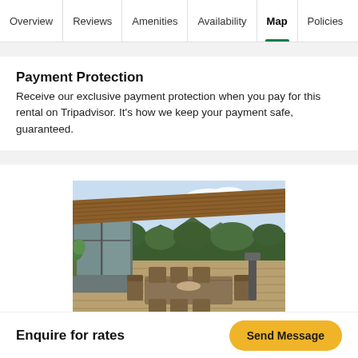Overview | Reviews | Amenities | Availability | Map | Policies
Payment Protection
Receive our exclusive payment protection when you pay for this rental on Tripadvisor. It's how we keep your payment safe, guaranteed.
[Figure (photo): Outdoor deck of a vacation rental property with dining table and chairs, large glass sliding doors, wooden overhang roof, green trees and hills in the background under a blue sky]
Enquire for rates
Send Message